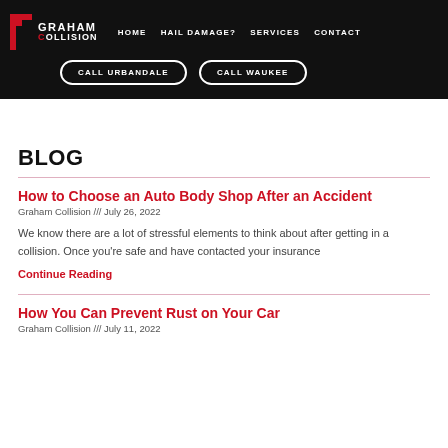[Figure (screenshot): Graham Collision website navigation bar with logo, nav links (HOME, HAIL DAMAGE?, SERVICES, CONTACT), and two call buttons (CALL URBANDALE, CALL WAUKEE) on black background]
BLOG
How to Choose an Auto Body Shop After an Accident
Graham Collision /// July 26, 2022
We know there are a lot of stressful elements to think about after getting in a collision. Once you're safe and have contacted your insurance
Continue Reading
How You Can Prevent Rust on Your Car
Graham Collision /// July 11, 2022